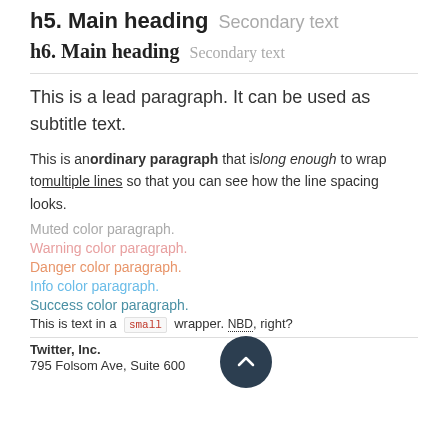h5. Main heading Secondary text
h6. Main heading Secondary text
This is a lead paragraph. It can be used as subtitle text.
This is an ordinary paragraph that is long enough to wrap to multiple lines so that you can see how the line spacing looks.
Muted color paragraph.
Warning color paragraph.
Danger color paragraph.
Info color paragraph.
Success color paragraph.
This is text in a small wrapper. NBD, right?
Twitter, Inc.
795 Folsom Ave, Suite 600